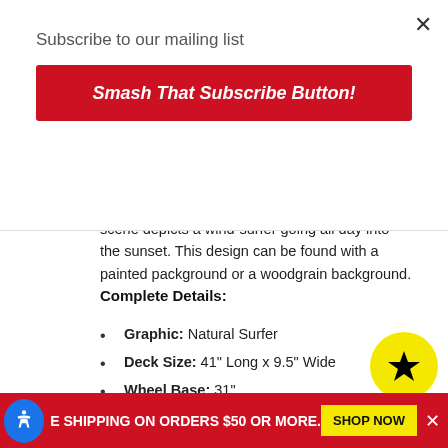Subscribe to our mailing list
Smash That Subscribe Button!
rider to maintain control when carving or sliding at higher speeds. Natural Surfer This tranquil scene depicts a windsurfer going all day into the sunset. This design can be found with a painted packground or a woodgrain background.
Complete Details:
Graphic: Natural Surfer
Deck Size: 41" Long x 9.5" Wide
Wheel Base: 31"
Griptape: Black Widow Premium Grade 80A Black Griptape
This item is deck with griptape only.
FREE SHIPPING ON ORDERS $50 OR MORE.   SHOP NOW